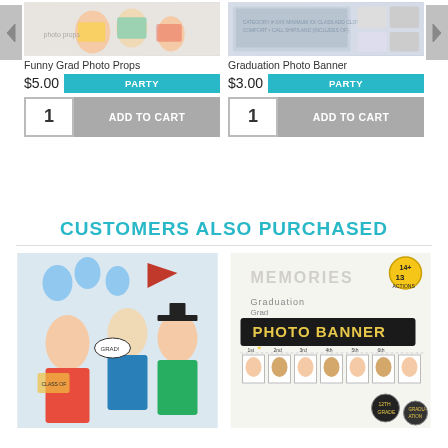[Figure (screenshot): Left navigation arrow button]
[Figure (photo): Funny Grad Photo Props product image showing teens with graduation photo props]
Funny Grad Photo Props
$5.00   PARTY
1   ADD TO CART
[Figure (photo): Graduation Photo Banner product image showing banner with graduation photos]
Graduation Photo Banner
$3.00   PARTY
1   ADD TO CART
[Figure (screenshot): Right navigation arrow button]
CUSTOMERS ALSO PURCHASED
[Figure (photo): Bottom left product: graduation photo props kit with teens holding props, balloons, graduation caps]
[Figure (photo): Bottom right product: Graduation Photo Banner with 13 sections showing numbered milestone photos from 1st to 12th grade]